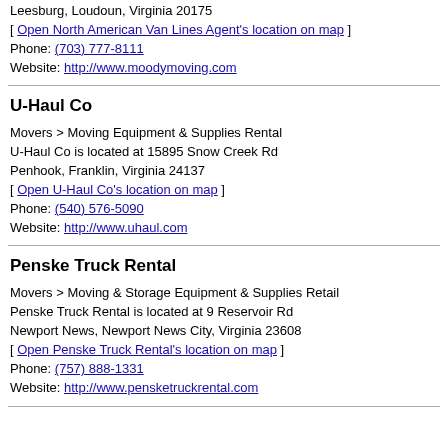Leesburg, Loudoun, Virginia 20175
[ Open North American Van Lines Agent's location on map ]
Phone: (703) 777-8111
Website: http://www.moodymoving.com
U-Haul Co
Movers > Moving Equipment & Supplies Rental
U-Haul Co is located at 15895 Snow Creek Rd
Penhook, Franklin, Virginia 24137
[ Open U-Haul Co's location on map ]
Phone: (540) 576-5090
Website: http://www.uhaul.com
Penske Truck Rental
Movers > Moving & Storage Equipment & Supplies Retail
Penske Truck Rental is located at 9 Reservoir Rd
Newport News, Newport News City, Virginia 23608
[ Open Penske Truck Rental's location on map ]
Phone: (757) 888-1331
Website: http://www.pensketruckrental.com